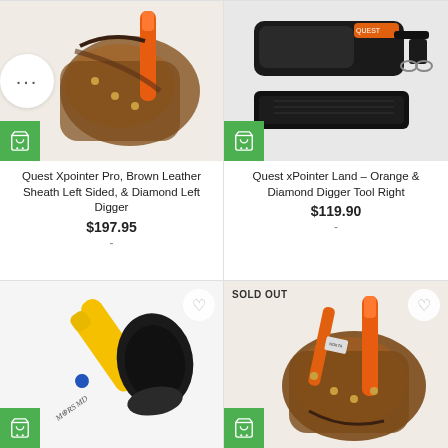[Figure (photo): Quest Xpointer Pro with Brown Leather Sheath Left Sided and Diamond Left Digger product photo, green cart button]
Quest Xpointer Pro, Brown Leather Sheath Left Sided, & Diamond Left Digger
$197.95
-
[Figure (photo): Quest xPointer Land Orange and Diamond Digger Tool Right product photo with black accessories, green cart button]
Quest xPointer Land – Orange & Diamond Digger Tool Right
$119.90
-
[Figure (photo): MaRS MD yellow pinpointer metal detector with black case, green cart button]
[Figure (photo): Sold out leather holster with orange Quest pinpointer and digger tool, green cart button]